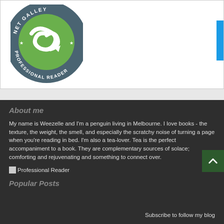[Figure (logo): NetGalley Professional Reader circular badge logo — dark teal/slate circle border with stars and text 'PROFESSIONAL READER', green swoosh/arrow icon in center]
About me
My name is Weezelle and I'm a penguin living in Melbourne. I love books - the texture, the weight, the smell, and especially the scratchy noise of turning a page when you're reading in bed. I'm also a tea-lover. Tea is the perfect accompaniment to a book. They are complementary sources of solace; comforting and rejuvenating and something to connect over.
[Figure (illustration): Broken image placeholder with label 'Professional Reader']
Popular Posts
Subscribe to follow my blog